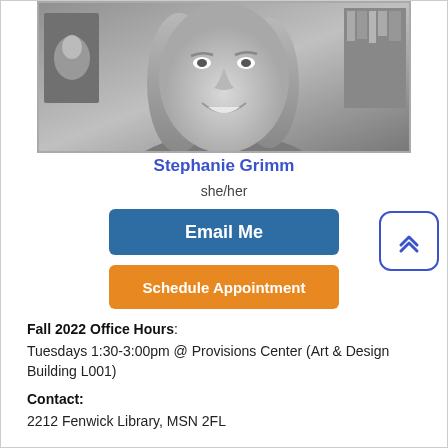[Figure (photo): Black and white headshot photo of Stephanie Grimm, a woman with shoulder-length blonde hair, smiling, with artwork and bookshelves visible in the background.]
Stephanie Grimm
she/her
Email Me
Schedule Appointment
Fall 2022 Office Hours: Tuesdays 1:30-3:00pm @ Provisions Center (Art & Design Building L001)
Contact: 2212 Fenwick Library, MSN 2FL